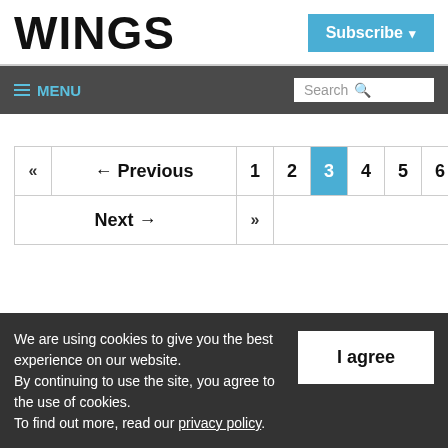WINGS
Subscribe
≡ MENU  Search
| « | ← Previous | 1 | 2 | 3 | 4 | 5 | 6 | 7 |
| Next → | » |  |  |  |  |  |  |  |
We are using cookies to give you the best experience on our website. By continuing to use the site, you agree to the use of cookies. To find out more, read our privacy policy.